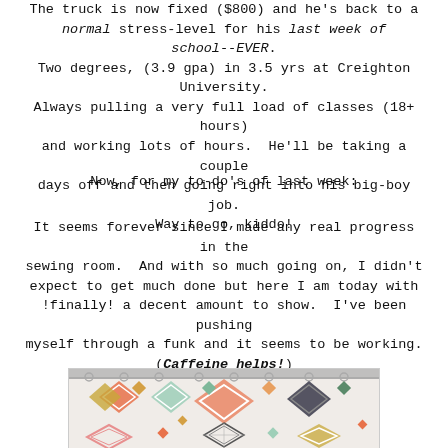The truck is now fixed ($800) and he's back to a normal stress-level for his last week of school--EVER. Two degrees, (3.9 gpa) in 3.5 yrs at Creighton University. Always pulling a very full load of classes (18+ hours) and working lots of hours. He'll be taking a couple days off and then going right into his big-boy job. Way to go, kiddo!
Now, for my to-do's of last week:
It seems forever since I made any real progress in the sewing room. And with so much going on, I didn't expect to get much done but here I am today with !finally! a decent amount to show. I've been pushing myself through a funk and it seems to be working. (Caffeine helps!)
[Figure (photo): Photo of a colorful geometric quilt hanging on a curtain rod, showing various diamond and square patterns in orange, green, gold, teal, and dark colors on a light background.]